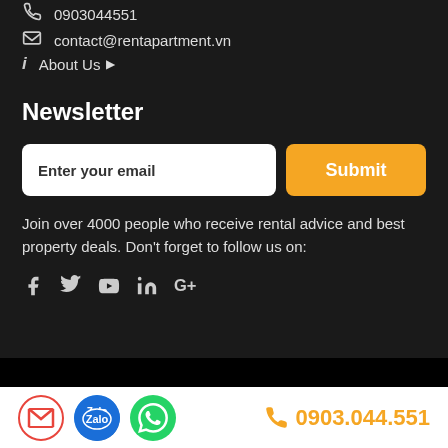0903044551
contact@rentapartment.vn
About Us ▶
Newsletter
Enter your email
Submit
Join over 4000 people who receive rental advice and best property deals. Don't forget to follow us on:
[Figure (infographic): Social media icons: Facebook, Twitter, YouTube, LinkedIn, Google+]
© Rentapartment Agency | Copyright 2022
Gmail, Zalo, WhatsApp icons and phone number 0903.044.551